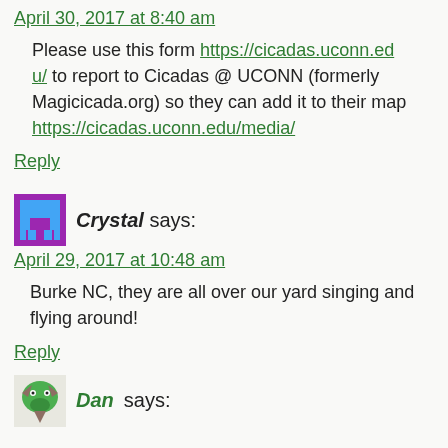April 30, 2017 at 8:40 am
Please use this form https://cicadas.uconn.edu/ to report to Cicadas @ UCONN (formerly Magicicada.org) so they can add it to their map https://cicadas.uconn.edu/media/
Reply
Crystal says:
April 29, 2017 at 10:48 am
Burke NC, they are all over our yard singing and flying around!
Reply
Dan says: